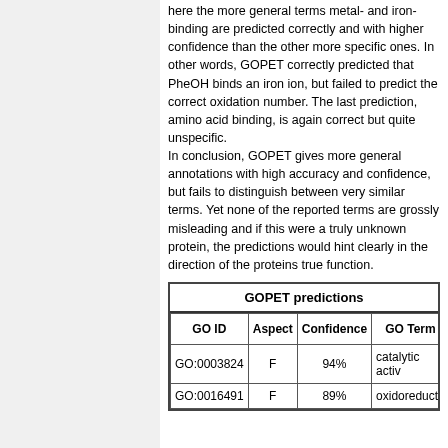here the more general terms metal- and iron-binding are predicted correctly and with higher confidence than the other more specific ones. In other words, GOPET correctly predicted that PheOH binds an iron ion, but failed to predict the correct oxidation number. The last prediction, amino acid binding, is again correct but quite unspecific.
In conclusion, GOPET gives more general annotations with high accuracy and confidence, but fails to distinguish between very similar terms. Yet none of the reported terms are grossly misleading and if this were a truly unknown protein, the predictions would hint clearly in the direction of the proteins true function.
| GO ID | Aspect | Confidence | GO Term |
| --- | --- | --- | --- |
| GO:0003824 | F | 94% | catalytic activ... |
| GO:0016491 | F | 89% | oxidoreducta... |